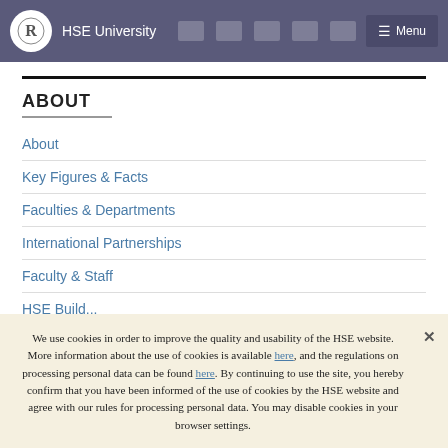HSE University
ABOUT
About
Key Figures & Facts
Faculties & Departments
International Partnerships
Faculty & Staff
HSE Build…
We use cookies in order to improve the quality and usability of the HSE website. More information about the use of cookies is available here, and the regulations on processing personal data can be found here. By continuing to use the site, you hereby confirm that you have been informed of the use of cookies by the HSE website and agree with our rules for processing personal data. You may disable cookies in your browser settings.